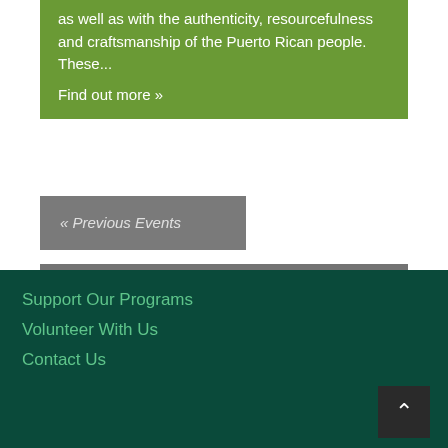as well as with the authenticity, resourcefulness and craftsmanship of the Puerto Rican people. These...
Find out more »
« Previous Events
+ EXPORT EVENTS
Support Our Programs
Volunteer With Us
Contact Us